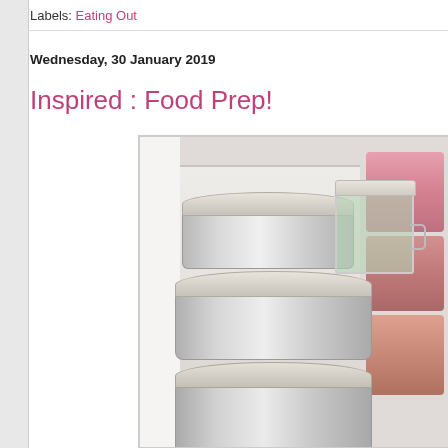Labels: Eating Out
Wednesday, 30 January 2019
Inspired : Food Prep!
[Figure (photo): Photo of stainless steel food containers and plastic containers with lids inside a refrigerator, showing prepped food storage in fridge]